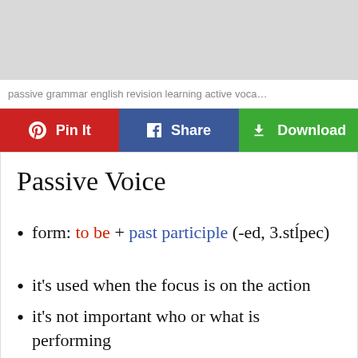[Figure (other): Gray banner/advertisement area at the top of the page]
passive grammar english revision learning active voca…
[Figure (infographic): Three social sharing buttons: Pin It (red/Pinterest), Share (blue/Facebook), Download (green)]
Passive Voice
form: to be + past participle (-ed, 3.stĺpec)
it's used when the focus is on the action
it's not important who or what is performing